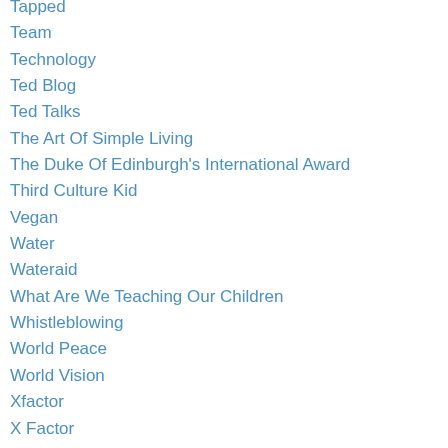Tapped
Team
Technology
Ted Blog
Ted Talks
The Art Of Simple Living
The Duke Of Edinburgh's International Award
Third Culture Kid
Vegan
Water
Wateraid
What Are We Teaching Our Children
Whistleblowing
World Peace
World Vision
Xfactor
X Factor
Zambia Project
Zen
Zen Garden
Author